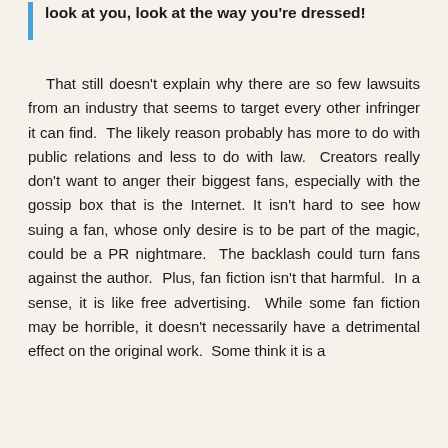look at you, look at the way you're dressed!
That still doesn't explain why there are so few lawsuits from an industry that seems to target every other infringer it can find. The likely reason probably has more to do with public relations and less to do with law. Creators really don't want to anger their biggest fans, especially with the gossip box that is the Internet. It isn't hard to see how suing a fan, whose only desire is to be part of the magic, could be a PR nightmare. The backlash could turn fans against the author. Plus, fan fiction isn't that harmful. In a sense, it is like free advertising. While some fan fiction may be horrible, it doesn't necessarily have a detrimental effect on the original work. Some think it is a